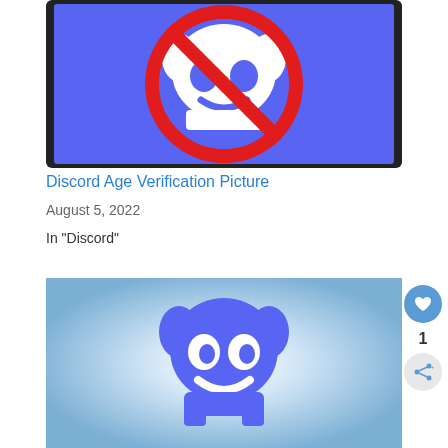[Figure (illustration): Discord logo with a red prohibition/ban circle overlay on a blue background, displayed on a smartphone screen]
Discord Age Verification Picture
August 5, 2022
In "Discord"
[Figure (illustration): Discord mascot/logo (Clyde) in blue and white on a light blue radial gradient background]